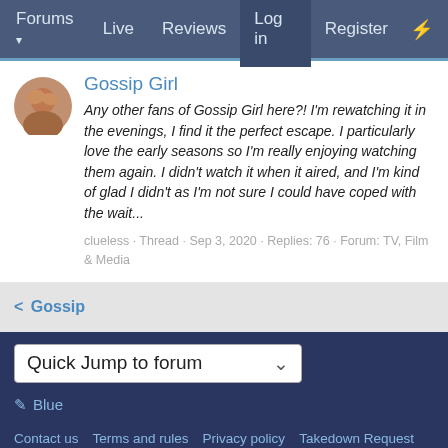Forums  Live  Reviews  Log in  Register
Gossip Girl
Any other fans of Gossip Girl here?! I'm rewatching it in the evenings, I find it the perfect escape. I particularly love the early seasons so I'm really enjoying watching them again. I didn't watch it when it aired, and I'm kind of glad I didn't as I'm not sure I could have coped with the wait...
clueless · Thread · Sep 3, 2020 · Replies: 76 · Forum: TV, Film & Media
< Gossip
Quick Jump to forum
✏ Blue
Contact us  Terms and rules  Privacy policy  Takedown Request  Help
All posts are users opinions and does not necessarily reflect the opinion of Lime Goss.